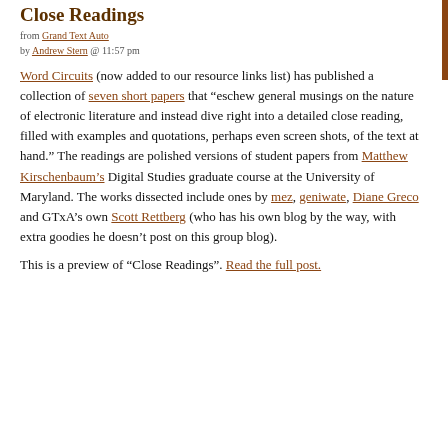Close Readings
from Grand Text Auto
by Andrew Stern @ 11:57 pm
Word Circuits (now added to our resource links list) has published a collection of seven short papers that “eschew general musings on the nature of electronic literature and instead dive right into a detailed close reading, filled with examples and quotations, perhaps even screen shots, of the text at hand.” The readings are polished versions of student papers from Matthew Kirschenbaum’s Digital Studies graduate course at the University of Maryland. The works dissected include ones by mez, geniwate, Diane Greco and GTxA’s own Scott Rettberg (who has his own blog by the way, with extra goodies he doesn’t post on this group blog).
This is a preview of “Close Readings”. Read the full post.